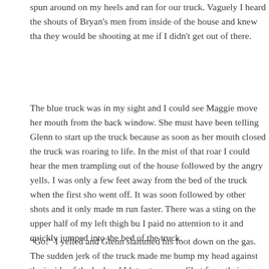spun around on my heels and ran for our truck. Vaguely I heard the shouts of Bryan's men from inside of the house and knew that they would be shooting at me if I didn't get out of there.
The blue truck was in my sight and I could see Maggie move her mouth from the back window. She must have been telling Glenn to start up the truck because as soon as her mouth closed the truck was roaring to life. In the mist of that roar I could hear the men trampling out of the house followed by the angry yells. I was only a few feet away from the bed of the truck when the first shot went off. It was soon followed by other shots and it only made me run faster. There was a sting on the upper half of my left thigh but I paid no attention to it and quickly jumped into the bed of the truck.
“Go!” I yelled and Glenn slammed his foot down on the gas. The sudden jerk of the truck made me bump my head against the inside of the bed and I let out a curse. Shot from their guns echoed in the air but none of them managed to hit the truck. With